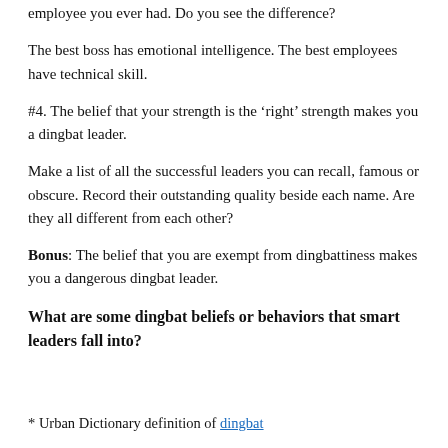employee you ever had. Do you see the difference?
The best boss has emotional intelligence. The best employees have technical skill.
#4. The belief that your strength is the ‘right’ strength makes you a dingbat leader.
Make a list of all the successful leaders you can recall, famous or obscure. Record their outstanding quality beside each name. Are they all different from each other?
Bonus: The belief that you are exempt from dingbattiness makes you a dangerous dingbat leader.
What are some dingbat beliefs or behaviors that smart leaders fall into?
* Urban Dictionary definition of dingbat